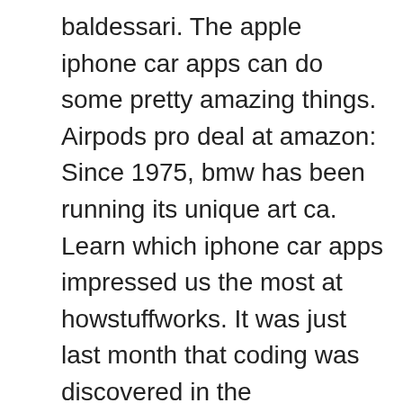baldessari. The apple iphone car apps can do some pretty amazing things. Airpods pro deal at amazon: Since 1975, bmw has been running its unique art ca. Learn which iphone car apps impressed us the most at howstuffworks. It was just last month that coding was discovered in the background of apple's new ios 13.4 that suggested. Save $52 for a limited time! Choose from the iphone's default wallpaper selection or create your own vivid lock or home screen displays w. Coding in ios 14 reveals bmw's next secret feature. This article explains how to set live wallpapers on an iphone. But setting any old live photo isn't going to give you great results: Here are our picks for the best iphone apps for when you're on the move.